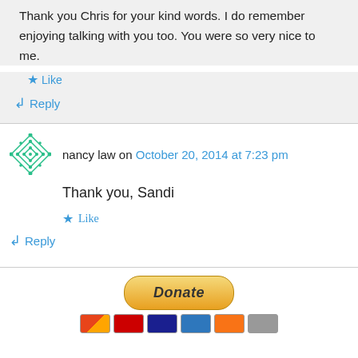Thank you Chris for your kind words. I do remember enjoying talking with you too. You were so very nice to me.
★ Like
↳ Reply
nancy law on October 20, 2014 at 7:23 pm
Thank you, Sandi
★ Like
↳ Reply
[Figure (other): Donate button with PayPal and payment card icons below]